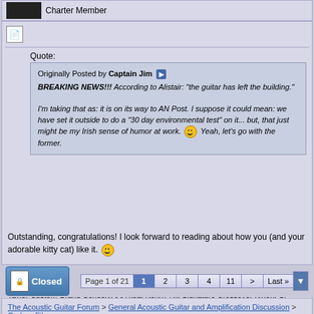Charter Member
[Figure (screenshot): Edit/quote icon for forum post]
Quote:
Originally Posted by Captain Jim
BREAKING NEWS!!! According to Alistair: "the guitar has left the building."

I'm taking that as: it is on its way to AN Post. I suppose it could mean: we have set it outside to do a "30 day environmental test" on it... but, that just might be my Irish sense of humor at work. :) Yeah, let's go with the former.
Outstanding, congratulations! I look forward to reading about how you (and your adorable kitty cat) like it. :)
Emerald Virtuo koa, Emerald X7 "Kauai" (custom painted artwork), Grimes Hapa nylon, Taylor Custom Grand Concert AAA koa, Kenny Hill Signature Crossover Nylon, CP Thornton koa Improv semi-hollow, Moore Bettah and KoAloha custom ukuleles, Rob Allen Mouse koa bass
Closed | Page 1 of 21 | 1 2 3 4 11 > Last »
The Acoustic Guitar Forum > General Acoustic Guitar and Amplification Discussion > Carbon Fiber